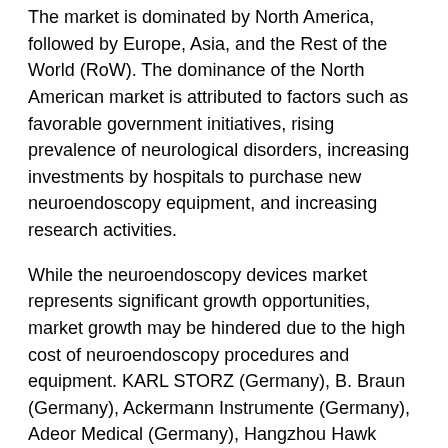The market is dominated by North America, followed by Europe, Asia, and the Rest of the World (RoW). The dominance of the North American market is attributed to factors such as favorable government initiatives, rising prevalence of neurological disorders, increasing investments by hospitals to purchase new neuroendoscopy equipment, and increasing research activities.
While the neuroendoscopy devices market represents significant growth opportunities, market growth may be hindered due to the high cost of neuroendoscopy procedures and equipment. KARL STORZ (Germany), B. Braun (Germany), Ackermann Instrumente (Germany), Adeor Medical (Germany), Hangzhou Hawk Optical Electronic Instruments (China), Machida Endoscope (Japan), Tonglu Wanhe Medical Instrument (China), Schindler Endoskopie (Germany), Clarus Medical (US), LocaMed (UK), and Visionsense Corporation (US) are the key players operating in this market.